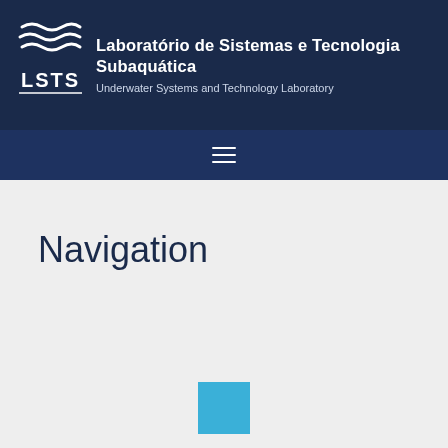Laboratório de Sistemas e Tecnologia Subaquática — Underwater Systems and Technology Laboratory
Navigation
[Figure (other): A solid cyan/blue square block at bottom center of the content area]